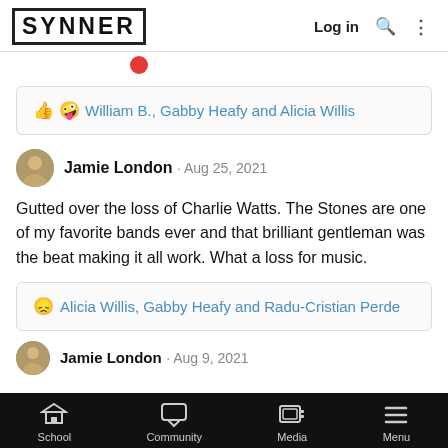SYNNER — Log in
William B., Gabby Heafy and Alicia Willis
Jamie London · Aug 25, 2021
Gutted over the loss of Charlie Watts. The Stones are one of my favorite bands ever and that brilliant gentleman was the beat making it all work. What a loss for music.
Alicia Willis, Gabby Heafy and Radu-Cristian Perde
Jamie London · Aug 9, 2021
School  Community  Media  Menu